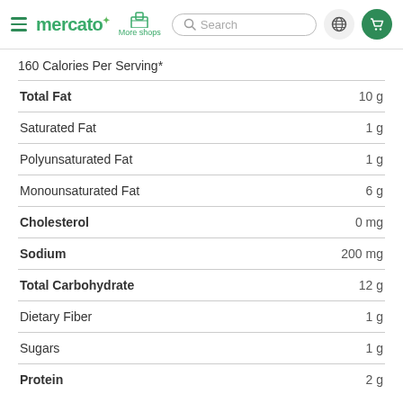mercato | More shops | Search | Globe | Cart
160 Calories Per Serving*
| Nutrient | Amount |
| --- | --- |
| Total Fat | 10 g |
| Saturated Fat | 1 g |
| Polyunsaturated Fat | 1 g |
| Monounsaturated Fat | 6 g |
| Cholesterol | 0 mg |
| Sodium | 200 mg |
| Total Carbohydrate | 12 g |
| Dietary Fiber | 1 g |
| Sugars | 1 g |
| Protein | 2 g |